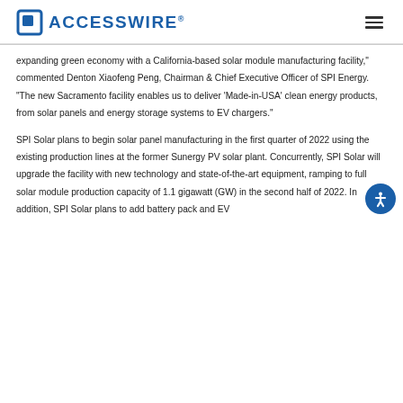ACCESSWIRE®
expanding green economy with a California-based solar module manufacturing facility," commented Denton Xiaofeng Peng, Chairman & Chief Executive Officer of SPI Energy. "The new Sacramento facility enables us to deliver 'Made-in-USA' clean energy products, from solar panels and energy storage systems to EV chargers."
SPI Solar plans to begin solar panel manufacturing in the first quarter of 2022 using the existing production lines at the former Sunergy PV solar plant. Concurrently, SPI Solar will upgrade the facility with new technology and state-of-the-art equipment, ramping to full solar module production capacity of 1.1 gigawatt (GW) in the second half of 2022. In addition, SPI Solar plans to add battery pack and EV